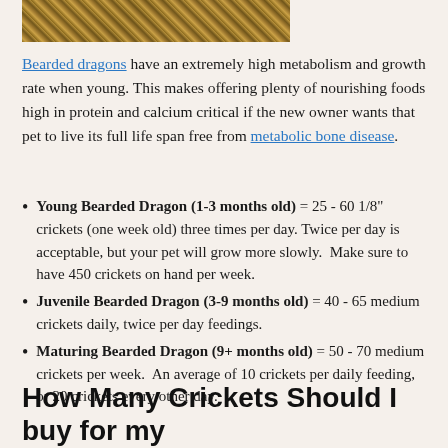[Figure (photo): Partial photo of bearded dragon or crickets, shown as a cropped strip at the top of the page]
Bearded dragons have an extremely high metabolism and growth rate when young. This makes offering plenty of nourishing foods high in protein and calcium critical if the new owner wants that pet to live its full life span free from metabolic bone disease.
Young Bearded Dragon (1-3 months old) = 25 - 60 1/8" crickets (one week old) three times per day. Twice per day is acceptable, but your pet will grow more slowly.  Make sure to have 450 crickets on hand per week.
Juvenile Bearded Dragon (3-9 months old) = 40 - 65 medium crickets daily, twice per day feedings.
Maturing Bearded Dragon (9+ months old) = 50 - 70 medium crickets per week.  An average of 10 crickets per daily feeding, or 20 crickets every other day.
How Many Crickets Should I buy for my